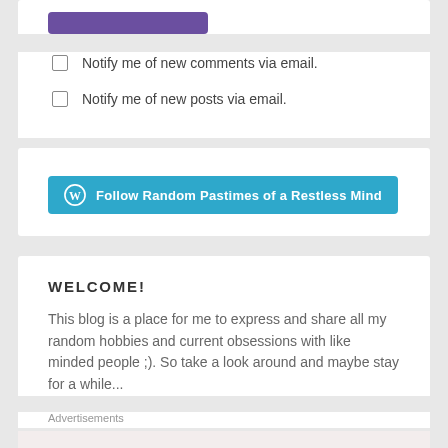[Figure (other): Purple submit/post button at top of comment form]
Notify me of new comments via email.
Notify me of new posts via email.
[Figure (other): WordPress Follow button: Follow Random Pastimes of a Restless Mind]
WELCOME!
This blog is a place for me to express and share all my random hobbies and current obsessions with like minded people ;). So take a look around and maybe stay for a while...
Advertisements
Business in